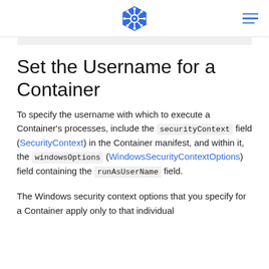[Kubernetes logo] [hamburger menu]
Set the Username for a Container
To specify the username with which to execute a Container's processes, include the securityContext field (SecurityContext) in the Container manifest, and within it, the windowsOptions (WindowsSecurityContextOptions) field containing the runAsUserName field.
The Windows security context options that you specify for a Container apply only to that individual